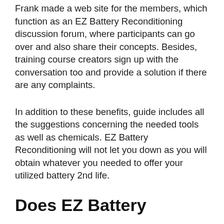Frank made a web site for the members, which function as an EZ Battery Reconditioning discussion forum, where participants can go over and also share their concepts. Besides, training course creators sign up with the conversation too and provide a solution if there are any complaints.
In addition to these benefits, guide includes all the suggestions concerning the needed tools as well as chemicals. EZ Battery Reconditioning will not let you down as you will obtain whatever you needed to offer your utilized battery 2nd life.
Does EZ Battery